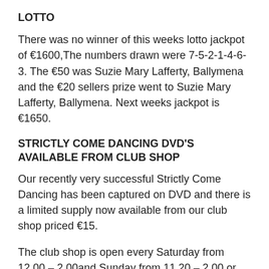LOTTO
There was no winner of this weeks lotto jackpot of €1600,The numbers drawn were 7-5-2-1-4-6-3. The €50 was Suzie Mary Lafferty, Ballymena and the €20 sellers prize went to Suzie Mary Lafferty, Ballymena. Next weeks jackpot is €1650.
STRICTLY COME DANCING DVD'S AVAILABLE FROM CLUB SHOP
Our recently very successful Strictly Come Dancing has been captured on DVD and there is a limited supply now available from our club shop priced €15.
The club shop is open every Saturday from 12.00 – 2.00and Sunday from 11.20 – 2.00 or alternatively contact Susan Byrne on 9370638